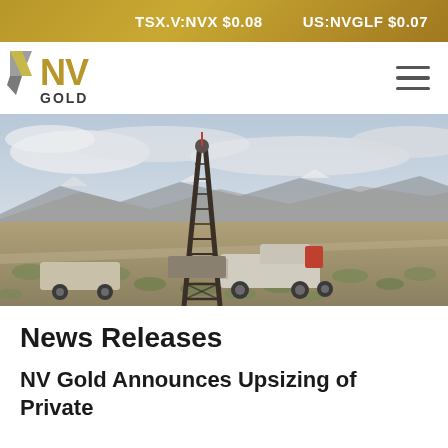TSX.V:NVX $0.08   US:NVGLF $0.07
[Figure (logo): NV Gold Corporation logo with stylized N and V mark in gold/grey]
[Figure (photo): Drilling rig in a vast open desert landscape with mountains in the background, trucks nearby, scrubby sagebrush in foreground, overcast sky]
News Releases
NV Gold Announces Upsizing of Private